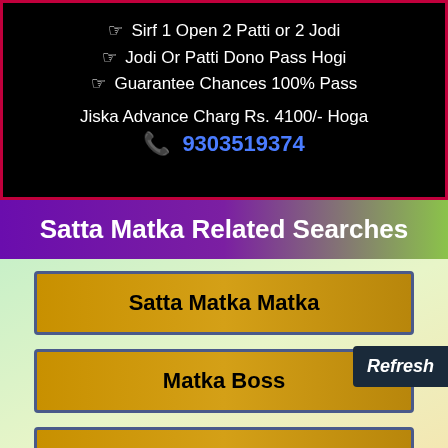☞ Sirf 1 Open 2 Patti or 2 Jodi
☞ Jodi Or Patti Dono Pass Hogi
☞ Guarantee Chances 100% Pass
Jiska Advance Charg Rs. 4100/- Hoga
📞 9303519374
Satta Matka Related Searches
Satta Matka Matka
Matka Boss
Kalyan Guessing Patti Chart
Indian Satta King